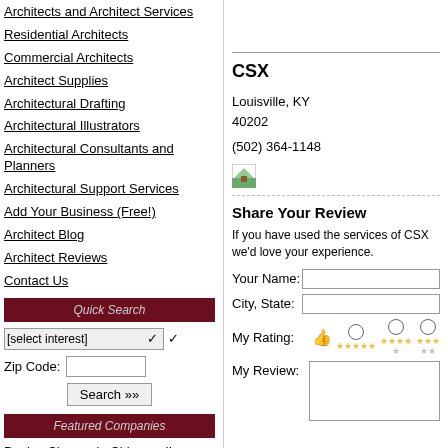Architects and Architect Services
Residential Architects
Commercial Architects
Architect Supplies
Architectural Drafting
Architectural Illustrators
Architectural Consultants and Planners
Architectural Support Services
Add Your Business (Free!)
Architect Blog
Architect Reviews
Contact Us
Quick Search
Featured Companies
Design Shoppe in Chicago, IL
Bush Design Group Inc in Dallas, TX
CSX
Louisville, KY
40202
(502) 364-1148
Share Your Review
If you have used the services of CSX we'd love your experience.
Your Name:
City, State:
My Rating:
My Review: